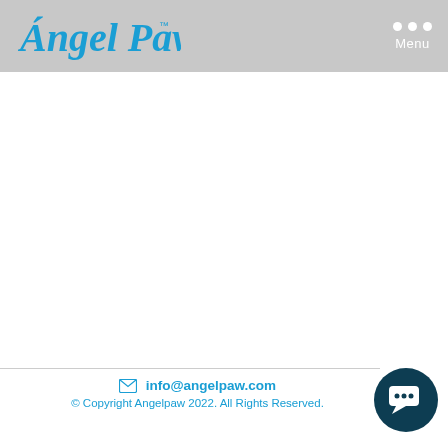Angel Paw™  •••  Menu
✉ info@angelpaw.com
© Copyright Angelpaw 2022. All Rights Reserved.